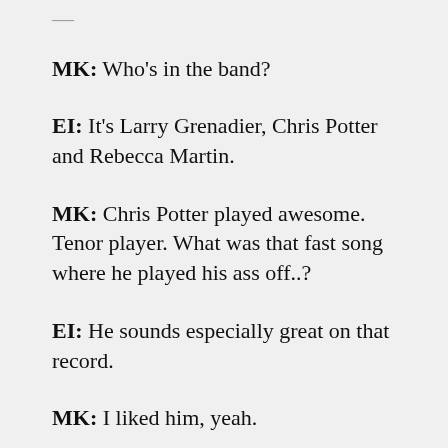MK:  Who’s in the band?
EI:  It’s Larry Grenadier, Chris Potter and Rebecca Martin.
MK:  Chris Potter played awesome. Tenor player. What was that fast song where he played his ass off..?
EI:  He sounds especially great on that record.
MK:  I liked him, yeah.